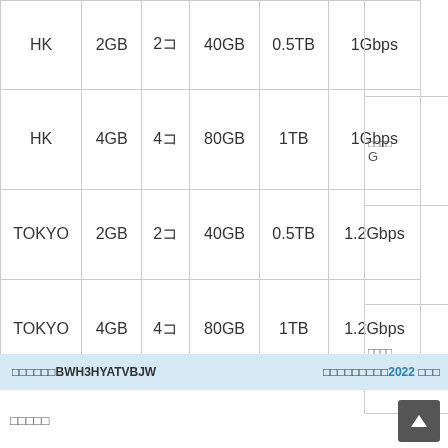| Location | Memory | CPU | Disk | Bandwidth | Speed |  |
| --- | --- | --- | --- | --- | --- | --- |
| HK | 2GB | 2コ | 40GB | 0.5TB | 1Gbps |  |
| HK | 4GB | 4コ | 80GB | 1TB | 1Gbps | □□□□
G |
| TOKYO | 2GB | 2コ | 40GB | 0.5TB | 1.2Gbps |  |
| TOKYO | 4GB | 4コ | 80GB | 1TB | 1.2Gbps | □□□□
G |
□□□□□□BWH3HYATVBJW　　□□□□□□□□□2022 □□□
□□□□□